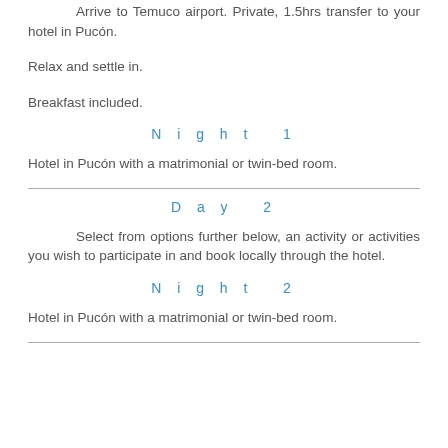Arrive to Temuco airport. Private, 1.5hrs transfer to your hotel in Pucón.
Relax and settle in.
Breakfast included.
Night 1
Hotel in Pucón with a matrimonial or twin-bed room.
Day 2
Select from options further below, an activity or activities you wish to participate in and book locally through the hotel.
Night 2
Hotel in Pucón with a matrimonial or twin-bed room.